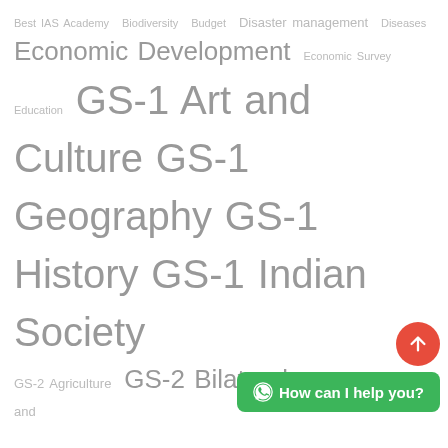[Figure (infographic): Tag cloud of IAS exam topics shown in varying font sizes indicating frequency/importance. Topics include: Best IAS Academy, Biodiversity, Budget, Disaster management, Diseases, Economic Development, Economic Survey, Education, GS-1 Art and Culture, GS-1 Geography, GS-1 History, GS-1 Indian Society, GS-2 Agriculture, GS-2 Bilateral, GS-2 Environment and Ecology, GS-2 Executive and judiciary, GS-2 Geography, GS-2 Governance, GS-2 Health, GS-2 Indian Constitution, GS-2 Indian Economy, GS-2 International Relations, GS-2 Polity and Constitution, GS-2 Social Justice, GS-2 Welfare Schemes, GS-3 Agriculture, GS-3 Disaster Management, Environment and Ecology. A red scroll-to-top button and a green WhatsApp chat button are overlaid at bottom-right.]